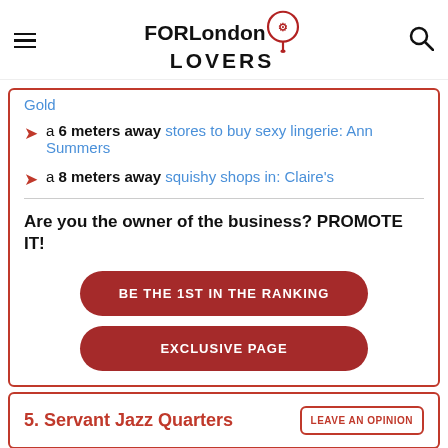FORLondon LOVERS
Gold
a 6 meters away stores to buy sexy lingerie: Ann Summers
a 8 meters away squishy shops in: Claire's
Are you the owner of the business? PROMOTE IT!
BE THE 1ST IN THE RANKING
EXCLUSIVE PAGE
5. Servant Jazz Quarters